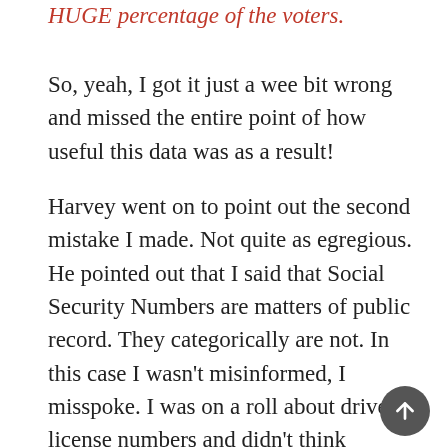HUGE percentage of the voters.
So, yeah, I got it just a wee bit wrong and missed the entire point of how useful this data was as a result!
Harvey went on to point out the second mistake I made. Not quite as egregious. He pointed out that I said that Social Security Numbers are matters of public record. They categorically are not. In this case I wasn't misinformed, I misspoke. I was on a roll about driver's license numbers and didn't think through what I was saying. In reality, with the data breach at Equifax and the Office of Personnel Management, our Social Security Numbers are publicly available, but that's not quite the same thing.